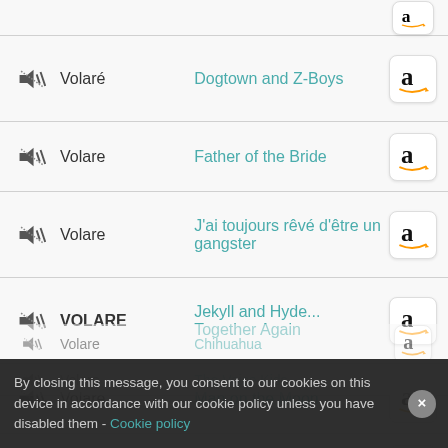Volaré | Dogtown and Z-Boys
Volare | Father of the Bride
Volare | J'ai toujours rêvé d'être un gangster
VOLARE | Jekyll and Hyde... Together Again
Volare | Man on the Moon
Volare | The Baker
Volare | Chihuahua (partially visible)
Volare | The Voice Kids (partially visible)
By closing this message, you consent to our cookies on this device in accordance with our cookie policy unless you have disabled them - Cookie policy